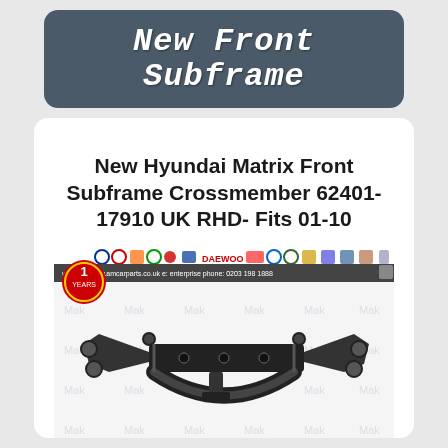New Front Subframe
New Hyundai Matrix Front Subframe Crossmember 62401-17910 UK RHD- Fits 01-10
[Figure (photo): Photo of a new Hyundai Matrix front subframe crossmember part number 62401-17910, shown on a branded background with 'Mak' watermarks, dealer logos at the top, and a '1 YEARS' warranty badge. Bottom shows an eBay badge and 'FREE NEXT DAY' delivery text with UK flag icons.]